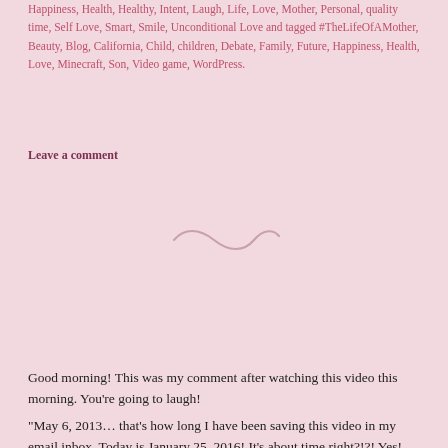Happiness, Health, Healthy, Intent, Laugh, Life, Love, Mother, Personal, quality time, Self Love, Smart, Smile, Unconditional Love and tagged #TheLifeOfAMother, Beauty, Blog, California, Child, children, Debate, Family, Future, Happiness, Health, Love, Minecraft, Son, Video game, WordPress.
Leave a comment
[Figure (illustration): Decorative swirl/tilde divider in muted rose color]
Rituals
Good morning!  This was my comment after watching this video this morning.  You're going to laugh!
“May 6, 2013… that’s how long I have been saving this video in my email inbox. Today is January 25, 2016! It’s about time right?!?! Yes! So, I watched this 1st wonderful video (while chopping an acorn squash in my kitchen, instead of sitting on my butt. Which is how I started it.) and am thinking… hmmmm… what kind of ritual would I